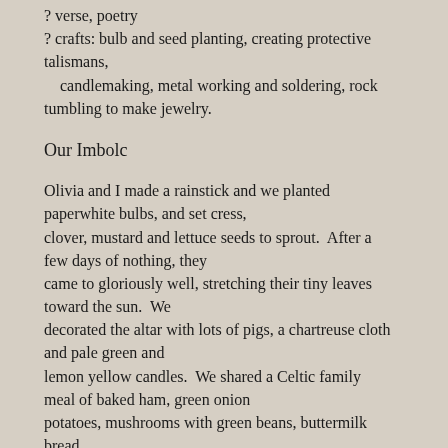? verse, poetry
? crafts: bulb and seed planting, creating protective talismans,
    candlemaking, metal working and soldering, rock tumbling to make jewelry.
Our Imbolc
Olivia and I made a rainstick and we planted paperwhite bulbs, and set cress,
clover, mustard and lettuce seeds to sprout.  After a few days of nothing, they
came to gloriously well, stretching their tiny leaves toward the sun.  We
decorated the altar with lots of pigs, a chartreuse cloth and pale green and
lemon yellow candles.  We shared a Celtic family meal of baked ham, green onion
potatoes, mushrooms with green beans, buttermilk bread